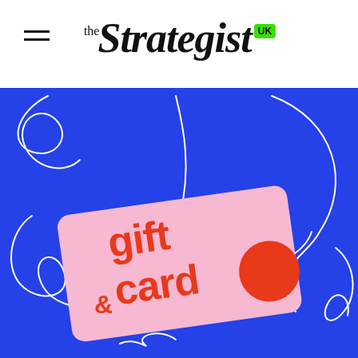the Strategist UK
[Figure (illustration): Blue background illustration showing a pink gift card with orange text reading 'gift card &' and an orange circle, surrounded by white curving arrow lines pointing toward the card from multiple directions.]